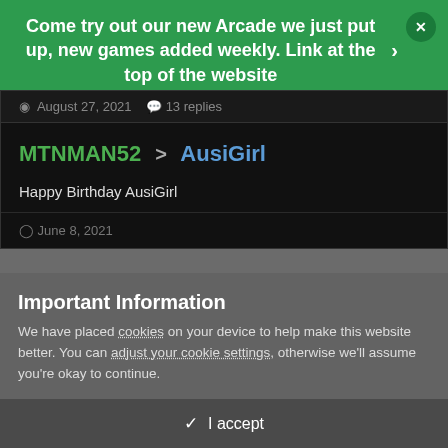Come try out our new Arcade we just put up, new games added weekly. Link at the top of the website
August 27, 2021  13 replies
MTNMAN52 > AusiGirl
Happy Birthday AusiGirl
June 8, 2021
Important Information
We have placed cookies on your device to help make this website better. You can adjust your cookie settings, otherwise we'll assume you're okay to continue.
✓  I accept